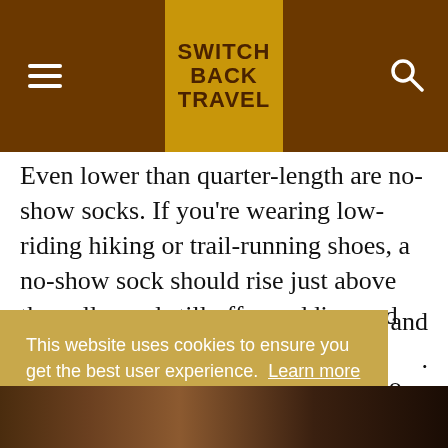SWITCH BACK TRAVEL
Even lower than quarter-length are no-show socks. If you're wearing low-riding hiking or trail-running shoes, a no-show sock should rise just above the collar and still offer padding and protection between your ankle and shoe. However, keep in mind that no-show socks have a greater chance of letting in trail debris like gravel or dirt, and er dly
This website uses cookies to ensure you get the best user experience. Learn more
Got it!
[Figure (photo): Bottom strip showing hiking/outdoor scene, partially visible]